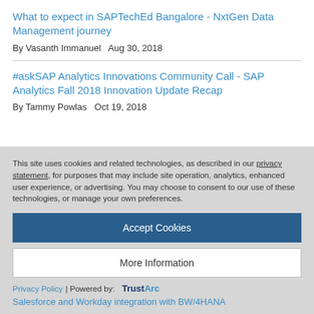What to expect in SAPTechEd Bangalore - NxtGen Data Management journey
By Vasanth Immanuel   Aug 30, 2018
#askSAP Analytics Innovations Community Call - SAP Analytics Fall 2018 Innovation Update Recap
By Tammy Powlas   Oct 19, 2018
This site uses cookies and related technologies, as described in our privacy statement, for purposes that may include site operation, analytics, enhanced user experience, or advertising. You may choose to consent to our use of these technologies, or manage your own preferences.
Accept Cookies
More Information
Privacy Policy | Powered by: TrustArc
Salesforce and Workday integration with BW/4HANA